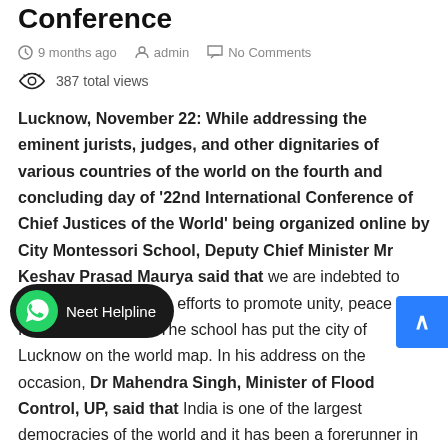Conference
9 months ago   admin   No Comments
387 total views
Lucknow, November 22: While addressing the eminent jurists, judges, and other dignitaries of various countries of the world on the fourth and concluding day of '22nd International Conference of Chief Justices of the World' being organized online by City Montessori School, Deputy Chief Minister Mr Keshav Prasad Maurya said that we are indebted to CMS in its continuous efforts to promote unity, peace and fraternity in society. The school has put the city of Lucknow on the world map. In his address on the occasion, Dr Mahendra Singh, Minister of Flood Control, UP, said that India is one of the largest democracies of the world and it has been a forerunner in its mature commitments promoting peace
[Figure (other): WhatsApp Neet Helpline popup overlay button]
[Figure (other): Blue scroll-to-top button with arrow]